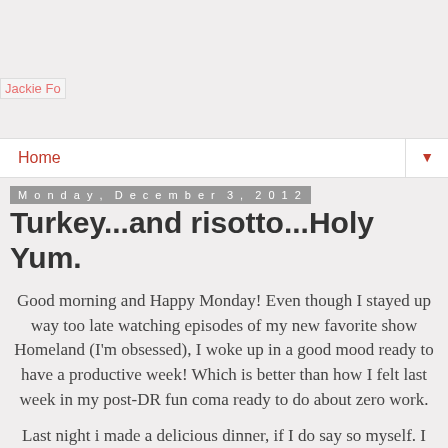[Figure (logo): Jackie Fo blog logo image placeholder]
Home ▼
Monday, December 3, 2012
Turkey...and risotto...Holy Yum.
Good morning and Happy Monday! Even though I stayed up way too late watching episodes of my new favorite show Homeland (I'm obsessed), I woke up in a good mood ready to have a productive week! Which is better than how I felt last week in my post-DR fun coma ready to do about zero work.
Last night i made a delicious dinner, if I do say so myself. I felt like cooking a big meal for the following reasons:
1) ...